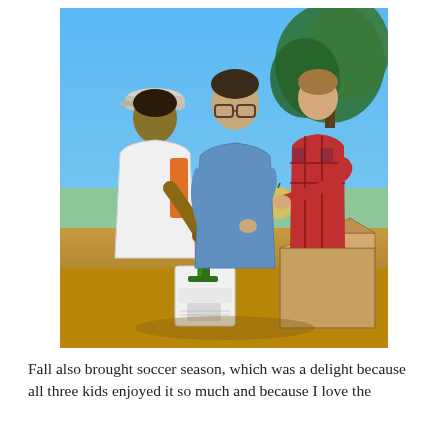[Figure (photo): Outdoor photo of three people — a teenager in a white shirt and cap, an adult in a blue t-shirt with glasses, and a young boy in a red plaid shirt — gathered around a green hand-crank apple/fruit grinder with a metal hopper, feeding apples into it. A white bucket sits below to collect the output, and a cardboard box is nearby. Trees and a sunny blue sky are visible in the background.]
Fall also brought soccer season, which was a delight because all three kids enjoyed it so much and because I love the